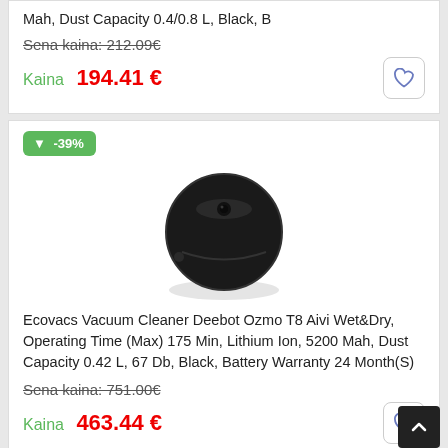Mah, Dust Capacity 0.4/0.8 L, Black, B
Sena kaina: 212.09€
Kaina 194.41 €
[Figure (photo): Black Ecovacs robot vacuum cleaner, round shape, top view]
Ecovacs Vacuum Cleaner Deebot Ozmo T8 Aivi Wet&Dry, Operating Time (Max) 175 Min, Lithium Ion, 5200 Mah, Dust Capacity 0.42 L, 67 Db, Black, Battery Warranty 24 Month(S)
Sena kaina: 751.00€
Kaina 463.44 €
-3%